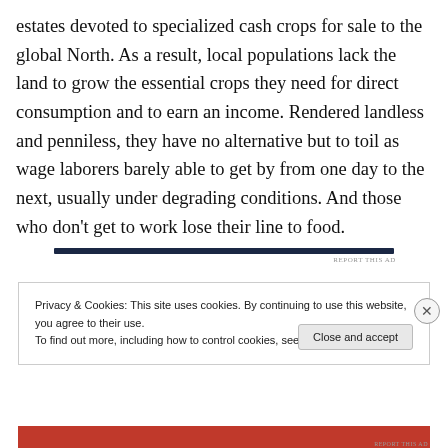estates devoted to specialized cash crops for sale to the global North. As a result, local populations lack the land to grow the essential crops they need for direct consumption and to earn an income. Rendered landless and penniless, they have no alternative but to toil as wage laborers barely able to get by from one day to the next, usually under degrading conditions. And those who don't get to work lose their line to food.
[Figure (other): Dark navy horizontal bar representing an advertisement divider, with 'REPORT THIS AD' text below it on the right side.]
Privacy & Cookies: This site uses cookies. By continuing to use this website, you agree to their use.
To find out more, including how to control cookies, see here: Cookie Policy
Close and accept